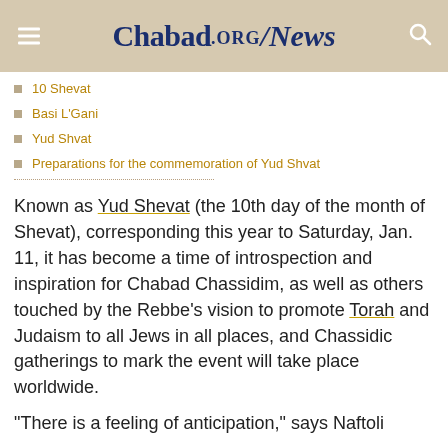Chabad.ORG/News
10 Shevat
Basi L'Gani
Yud Shvat
Preparations for the commemoration of Yud Shvat
Known as Yud Shevat (the 10th day of the month of Shevat), corresponding this year to Saturday, Jan. 11, it has become a time of introspection and inspiration for Chabad Chassidim, as well as others touched by the Rebbe's vision to promote Torah and Judaism to all Jews in all places, and Chassidic gatherings to mark the event will take place worldwide.
“There is a feeling of anticipation,” says Naftoli